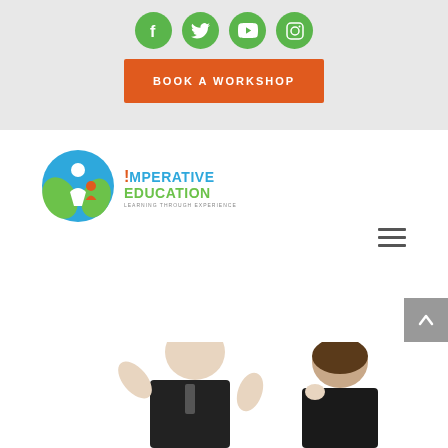[Figure (logo): Social media icons row: Facebook, Twitter, YouTube, Instagram — green circles on grey background]
[Figure (logo): Orange button with text BOOK A WORKSHOP]
[Figure (logo): Imperative Education logo with tagline 'Learning Through Experience']
[Figure (other): Hamburger menu icon (three horizontal lines)]
[Figure (other): Grey scroll-to-top button with up arrow on right edge]
[Figure (photo): Two business people arguing or in heated discussion against white background]